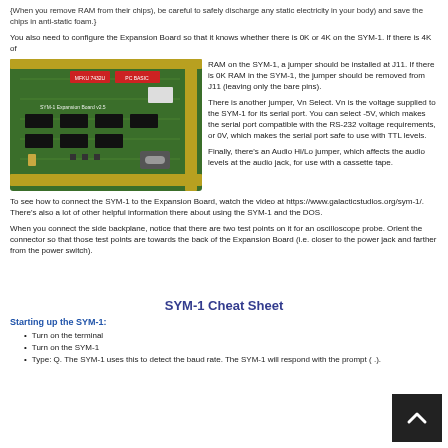{When you remove RAM from their chips), be careful to safely discharge any static electricity in your body) and save the chips in anti-static foam.}
You also need to configure the Expansion Board so that it knows whether there is 0K or 4K on the SYM-1. If there is 4K of RAM on the SYM-1, a jumper should be installed at J11. If there is 0K RAM in the SYM-1, the jumper should be removed from J11 (leaving only the bare pins).

There is another jumper, Vn Select. Vn is the voltage supplied to the SYM-1 for its serial port. You can select -5V, which makes the serial port compatible with the RS-232 voltage requirements, or 0V, which makes the serial port safe to use with TTL levels.

Finally, there's an Audio Hi/Lo jumper, which affects the audio levels at the audio jack, for use with a cassette tape.
[Figure (photo): Photo of SYM-1 Expansion Board v2.5, a green PCB with various chips, connectors, and jumpers.]
To see how to connect the SYM-1 to the Expansion Board, watch the video at https://www.galacticstudios.org/sym-1/. There's also a lot of other helpful information there about using the SYM-1 and the DOS.
When you connect the side backplane, notice that there are two test points on it for an oscilloscope probe. Orient the connector so that those test points are towards the back of the Expansion Board (i.e. closer to the power jack and farther from the power switch).
SYM-1 Cheat Sheet
Starting up the SYM-1:
Turn on the terminal
Turn on the SYM-1
Type: Q. The SYM-1 uses this to detect the baud rate. The SYM-1 will respond with the prompt ( .).